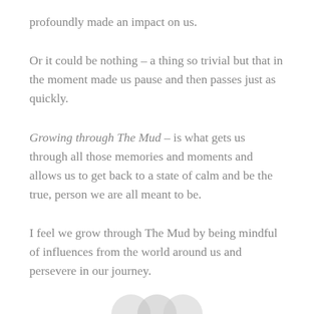profoundly made an impact on us.
Or it could be nothing – a thing so trivial but that in the moment made us pause and then passes just as quickly.
Growing through The Mud – is what gets us through all those memories and moments and allows us to get back to a state of calm and be the true, person we are all meant to be.
I feel we grow through The Mud by being mindful of influences from the world around us and persevere in our journey.